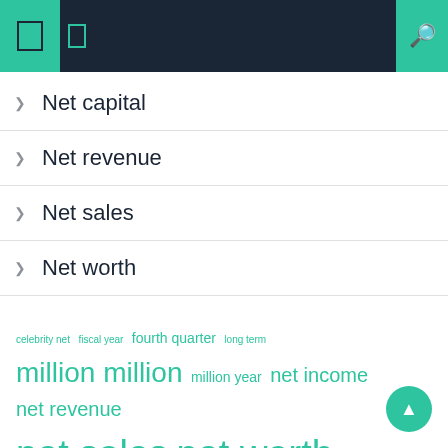Navigation header with icons
Net capital
Net revenue
Net sales
Net worth
[Figure (infographic): Tag cloud with finance-related terms in teal/green at varying sizes: celebrity net, fiscal year, fourth quarter, long term, million million, million year, net income, net revenue, net sales, net worth, period year, quarter net, sales increased, united states, worth million]